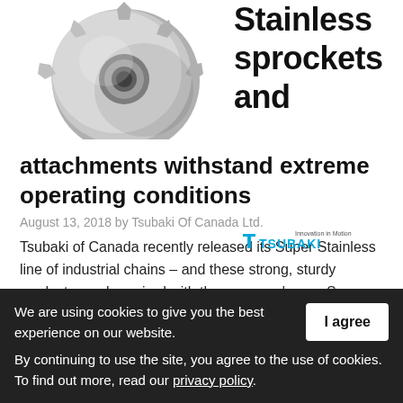[Figure (photo): A stainless steel sprocket against a white background]
Stainless sprockets and attachments withstand extreme operating conditions
August 13, 2018 by Tsubaki Of Canada Ltd.
Tsubaki of Canada recently released its Super Stainless line of industrial chains – and these strong, sturdy products can be paired with the company's new Super Stainless Sprockets and Super Stainless Attachments. This …
[Figure (logo): Tsubaki Innovation in Motion logo]
We are using cookies to give you the best experience on our website.
By continuing to use the site, you agree to the use of cookies. To find out more, read our privacy policy.